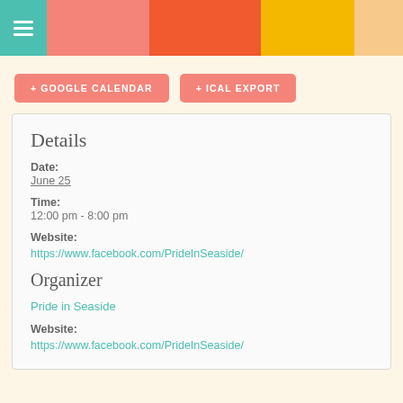[Figure (other): Colored header banner with teal hamburger menu icon section, salmon/pink, orange-red, yellow, and peach color blocks]
+ GOOGLE CALENDAR
+ ICAL EXPORT
Details
Date:
June 25
Time:
12:00 pm - 8:00 pm
Website:
https://www.facebook.com/PrideInSeaside/
Organizer
Pride in Seaside
Website:
https://www.facebook.com/PrideInSeaside/